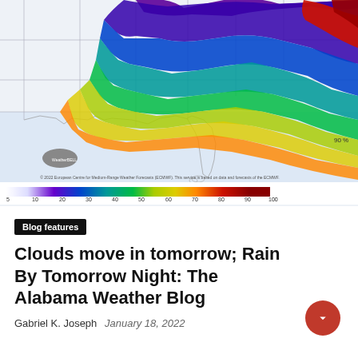[Figure (map): Weather forecast map of the southeastern United States showing precipitation probability, with a color gradient from white/light blue (low probability) through green, yellow, orange, and red/dark red (high probability) along the Atlantic coast and Southeast region. Includes a color scale bar at the bottom ranging from 0 to 100, with a WeatherBELL logo and ECMWF copyright notice.]
Blog features
Clouds move in tomorrow; Rain By Tomorrow Night: The Alabama Weather Blog
Gabriel K. Joseph  January 18, 2022